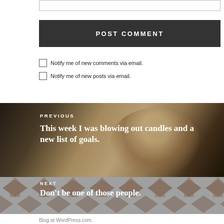[Figure (other): Input text field at the top of the page]
POST COMMENT
Notify me of new comments via email.
Notify me of new posts via email.
[Figure (photo): Photo of a person with mouth open wide, appearing to blow out candles, with dark background]
PREVIOUS
This week I was blowing out candles and a new list of goals.
[Figure (illustration): Gray patterned background with diamond/arrow shapes for next post section]
NEXT
Don't be one of those people.
Blog at WordPress.com.